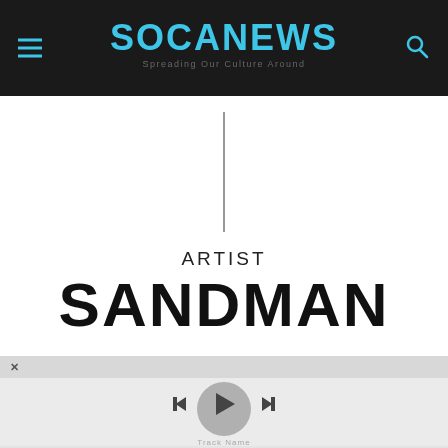SOCANEWS — Spreading Our Culture Around
[Figure (illustration): Vertical black divider line centered on white background]
ARTIST
SANDMAN
[Figure (screenshot): Music player UI with close button (x), circular album art placeholder, track info text, previous/play/next controls, time display 00:00:00 on left and 00:00:00 on right, and queue icon]